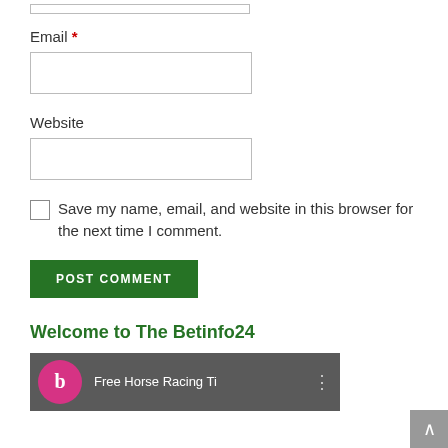Email *
Website
Save my name, email, and website in this browser for the next time I comment.
POST COMMENT
Welcome to The Betinfo24
[Figure (screenshot): Partial video thumbnail showing a pink circle with letter 'b' and text 'Free Horse Racing Ti' with a three-dot menu icon, on a dark grey background.]